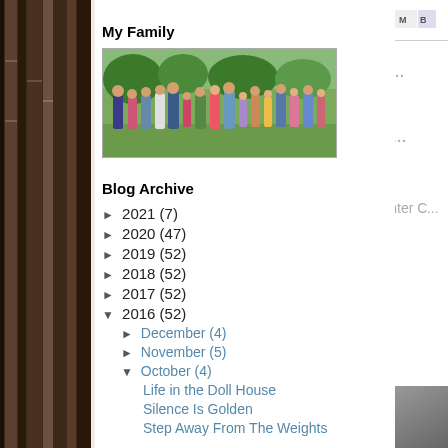[Figure (photo): Left sidebar showing stacked books, dark brown tones]
My Family
[Figure (photo): Family photo showing a large group of people standing in a green garden]
Blog Archive
► 2021 (7)
► 2020 (47)
► 2019 (52)
► 2018 (52)
► 2017 (52)
▼ 2016 (52)
► December (4)
► November (5)
▼ October (4)
Life in the Doll House
Silence Is Golden
Step Away From The Weights
No comment...
Post a Comm...
Enter C...
Newer Post
Subscribe to: Post C...
New Release  C... book in three days. A...